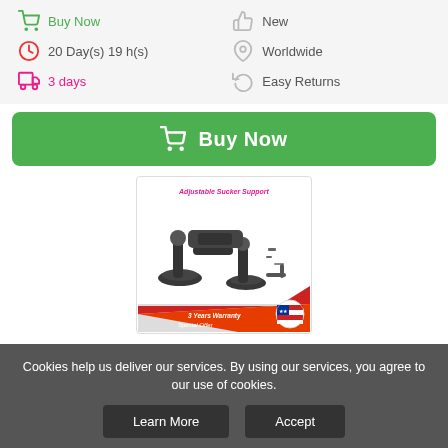Buy Now
New
20 Day(s) 19 h(s)
Worldwide
3 days
Easy Returns
Buy Now (button)
[Figure (photo): Product image of Adjustable Sucker Support - Heavy Duty Car Suction Cup Vehicle mount, with red diagonal banner showing '3 Years Warranty Special Offer' and US flag]
Heavy Duty Car Suction Cup Vehicle F...
$42.00
Cookies help us deliver our services. By using our services, you agree to our use of cookies.
Learn More
Accept